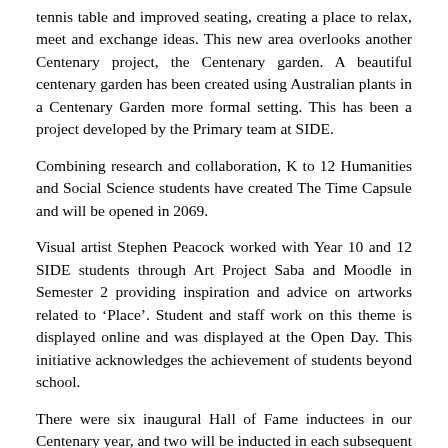tennis table and improved seating, creating a place to relax, meet and exchange ideas. This new area overlooks another Centenary project, the Centenary garden. A beautiful centenary garden has been created using Australian plants in a Centenary Garden more formal setting. This has been a project developed by the Primary team at SIDE.
Combining research and collaboration, K to 12 Humanities and Social Science students have created The Time Capsule and will be opened in 2069.
Visual artist Stephen Peacock worked with Year 10 and 12 SIDE students through Art Project Saba and Moodle in Semester 2 providing inspiration and advice on artworks related to ‘Place’. Student and staff work on this theme is displayed online and was displayed at the Open Day. This initiative acknowledges the achievement of students beyond school.
There were six inaugural Hall of Fame inductees in our Centenary year, and two will be inducted in each subsequent year.